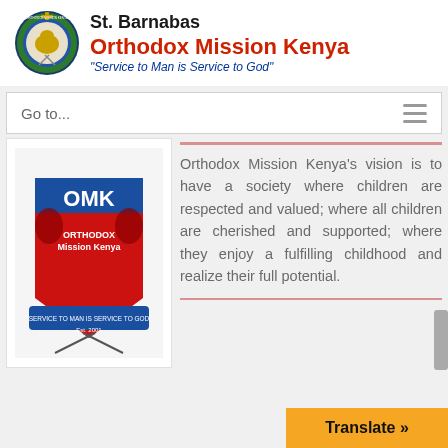[Figure (logo): St. Barnabas Orthodox Mission Kenya circular crest/shield logo with lion and cross]
St. Barnabas Orthodox Mission Kenya
"Service to Man is Service to God"
Go to...
[Figure (logo): Orthodox Mission Kenya (OMK) heraldic badge with two lions, red shield, blue ribbon, text SERVICE TO MAN IS SERVICE TO GOD, Est. 2001]
Orthodox Mission Kenya's vision is to have a society where children are respected and valued; where all children are cherished and supported; where they enjoy a fulfilling childhood and realize their full potential.